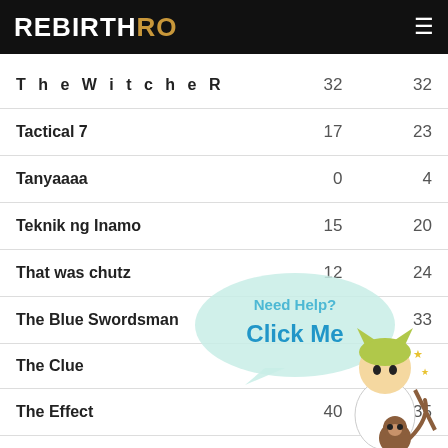REBIRTH RO
| Name | Col1 | Col2 |
| --- | --- | --- |
| The Witche R | 32 | 32 |
| Tactical 7 | 17 | 23 |
| Tanyaaaa | 0 | 4 |
| Teknik ng Inamo | 15 | 20 |
| That was chutz | 12 | 24 |
| The Blue Swordsman |  | 33 |
| The Clue |  |  |
| The Effect | 40 | 35 |
| The Mummy | 55 |  |
| The Only Ninja | 35 |  |
[Figure (illustration): Anime character with cat ears holding a staff and a monkey. Speech bubble says 'Need Help? Click Me']